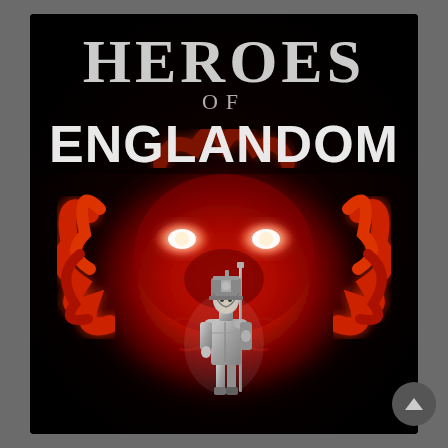[Figure (illustration): Book cover for 'Heroes of Englandom' featuring large serif title text at top on black background. 'HEROES' in elegant serif caps, 'OF' smaller below, 'ENGLANDOM' in large bold white metallic letters. Center shows a glowing red demonic lion face with bright white eyes, and in the foreground a small silver/metallic Napoleonic-era soldier figure standing at attention holding a rifle. Bottom right has a circular scroll-up button with chevron icon.]